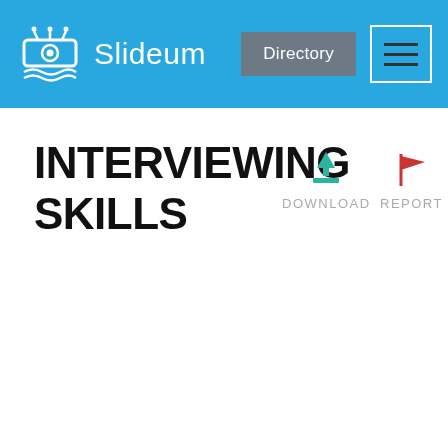Slideum — Directory
INTERVIEWING SKILLS
[Figure (screenshot): Download icon (teal download arrow with tray) above DOWNLOAD label]
[Figure (screenshot): Report icon (red flag) above REPORT label]